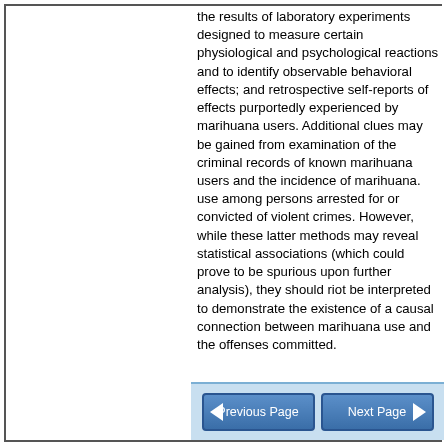the results of laboratory experiments designed to measure certain physiological and psychological reactions and to identify observable behavioral effects; and retrospective self-reports of effects purportedly experienced by marihuana users. Additional clues may be gained from examination of the criminal records of known marihuana users and the incidence of marihuana. use among persons arrested for or convicted of violent crimes. However, while these latter methods may reveal statistical associations (which could prove to be spurious upon further analysis), they should riot be interpreted to demonstrate the existence of a causal connection between marihuana use and the offenses committed.